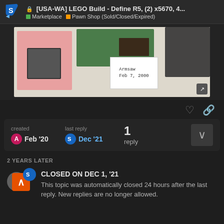[USA-WA] LEGO Build - Define R5, (2) x5670, 4... | Marketplace | Pawn Shop (Sold/Closed/Expired)
[Figure (photo): Photo of computer hardware components including a CPU on pink anti-static foam, a green circuit board/GPU, and a black anti-static bag. A handwritten note reads 'Armsaw Feb 7, 2000'.]
created Feb '20  last reply Dec '21  1 reply
2 YEARS LATER
CLOSED ON DEC 1, '21
This topic was automatically closed 24 hours after the last reply. New replies are no longer allowed.